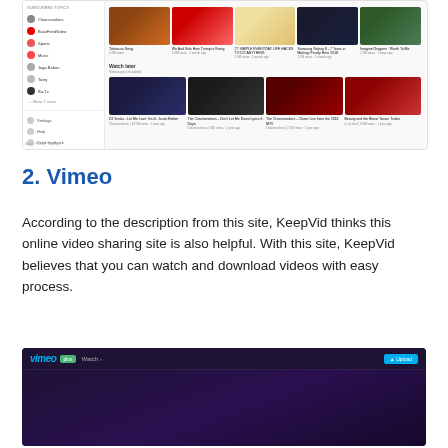[Figure (screenshot): YouTube interface screenshot showing subscribed channels sidebar and video thumbnails including Watch Later section with music videos]
2. Vimeo
According to the description from this site, KeepVid thinks this online video sharing site is also helpful. With this site, KeepVid believes that you can watch and download videos with easy process.
[Figure (screenshot): Vimeo website screenshot showing dark purple interface with Vimeo logo and navigation bar]